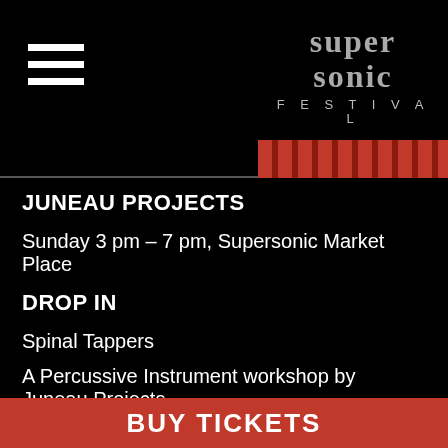Supersonic Festival
JUNEAU PROJECTS
Sunday 3 pm – 7 pm, Supersonic Market Place
DROP IN
Spinal Tappers
A Percussive Instrument workshop by Juneau Projects
Join this drop-in workshop with Juneau Projects to create your own wooden percussion instrument to use as part of Dennis McNett's procession piece. Select an instrument shape from a
BUY TICKETS